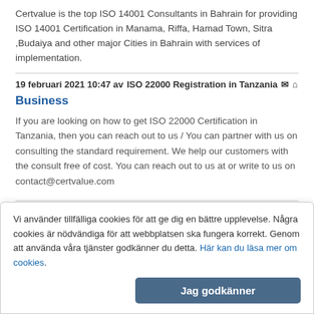Certvalue is the top ISO 14001 Consultants in Bahrain for providing ISO 14001 Certification in Manama, Riffa, Hamad Town, Sitra ,Budaiya and other major Cities in Bahrain with services of implementation.
19 februari 2021 10:47 av ISO 22000 Registration in Tanzania
Business
If you are looking on how to get ISO 22000 Certification in Tanzania, then you can reach out to us / You can partner with us on consulting the standard requirement. We help our customers with the consult free of cost. You can reach out to us at or write to us on contact@certvalue.com
« 1 2 3 4 5 6 7 8 9 10 11 12 13 14 15 16 17 18 19 20 21 22 23 24
Vi använder tillfälliga cookies för att ge dig en bättre upplevelse. Några cookies är nödvändiga för att webbplatsen ska fungera korrekt. Genom att använda våra tjänster godkänner du detta. Här kan du läsa mer om cookies.